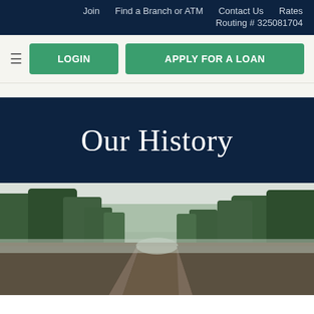Join    Find a Branch or ATM    Contact Us    Rates    Routing # 325081704
≡  LOGIN  APPLY FOR A LOAN
Our History
[Figure (photo): Railroad tracks extending into the distance through a misty Pacific Northwest forest with tall evergreen trees on both sides]